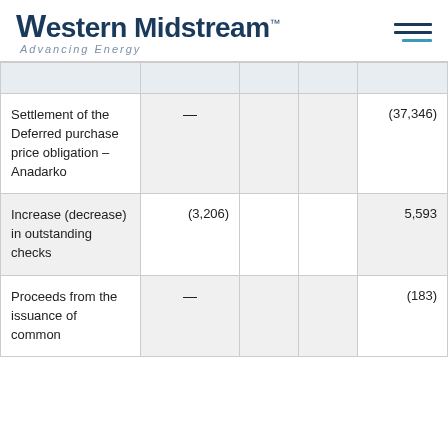Western Midstream™ — Advancing Energy
|  |  |  |  |  |
| --- | --- | --- | --- | --- |
| Settlement of the Deferred purchase price obligation – Anadarko | — |  |  | (37,346) |
| Increase (decrease) in outstanding checks | (3,206) |  |  | 5,593 |
| Proceeds from the issuance of common | — |  |  | (183) |